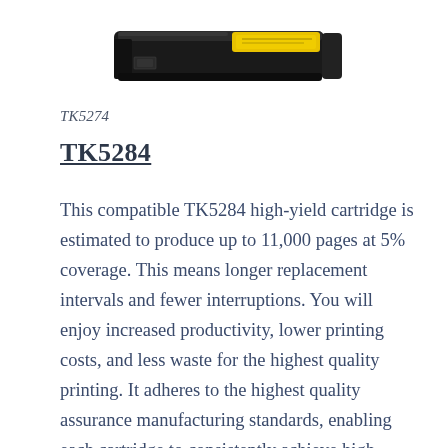[Figure (photo): A black and yellow toner cartridge (TK5284 compatible), shown from a slight angle with the yellow label visible on top.]
TK5274
TK5284
This compatible TK5284 high-yield cartridge is estimated to produce up to 11,000 pages at 5% coverage. This means longer replacement intervals and fewer interruptions. You will enjoy increased productivity, lower printing costs, and less waste for the highest quality printing. It adheres to the highest quality assurance manufacturing standards, enabling each cartridge to consistently achieve high performance, reliability, and maximum printout capacity, making this type of cartridge